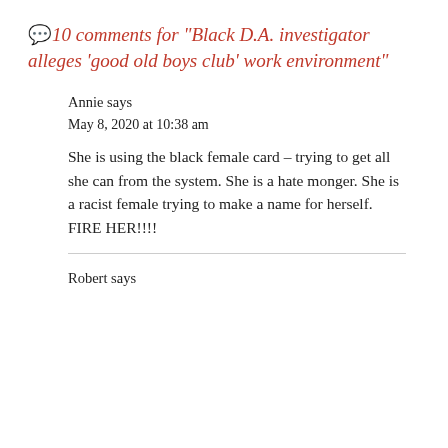💬10 comments for "Black D.A. investigator alleges 'good old boys club' work environment"
Annie says
May 8, 2020 at 10:38 am
She is using the black female card – trying to get all she can from the system. She is a hate monger. She is a racist female trying to make a name for herself. FIRE HER!!!!
Robert says